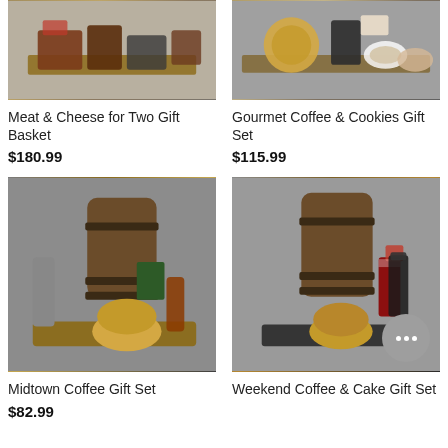[Figure (photo): Meat and cheese gift basket on wooden board with various packaged meats, cheeses, and condiments]
[Figure (photo): Gourmet coffee and cookies gift set with baked goods, coffee cups, and packaged items on wooden board]
Meat & Cheese for Two Gift Basket
$180.99
Gourmet Coffee & Cookies Gift Set
$115.99
[Figure (photo): Midtown Coffee Gift Set with wooden barrel, panettone, syrup bottle, and coffee thermos on wooden tray]
[Figure (photo): Weekend Coffee & Cake Gift Set with wooden barrel, panettone, and chocolate bars on dark board]
Midtown Coffee Gift Set
$82.99
Weekend Coffee & Cake Gift Set